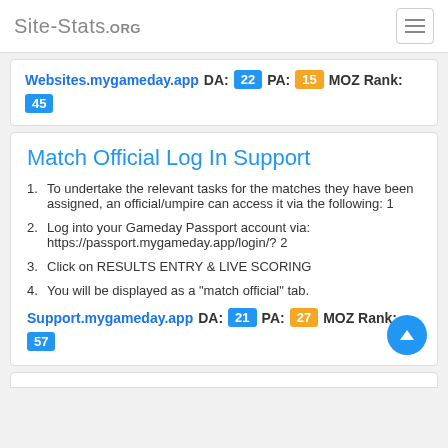Site-Stats.ORG
Websites.mygameday.app  DA: 22  PA: 15  MOZ Rank: 45
Match Official Log In Support
To undertake the relevant tasks for the matches they have been assigned, an official/umpire can access it via the following: 1
Log into your Gameday Passport account via: https://passport.mygameday.app/login/? 2
Click on RESULTS ENTRY & LIVE SCORING
You will be displayed as a "match official" tab.
Support.mygameday.app  DA: 21  PA: 27  MOZ Rank: 57